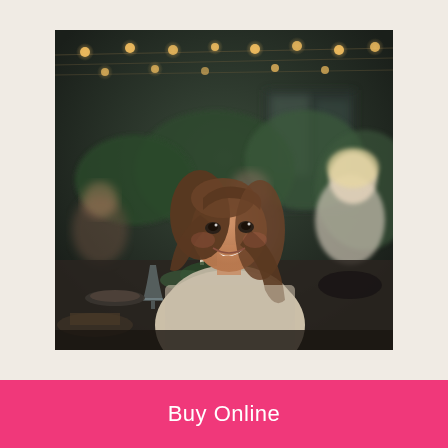[Figure (photo): A smiling young woman with long brown hair turning to look at the camera at an outdoor dinner party. String lights hang above, candles glow on the table set with greenery and glassware. Other guests are visible in the background including a man and a blonde woman.]
Buy Online